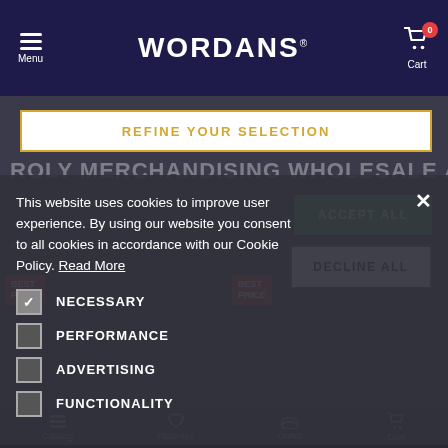Menu | WORDANS® | Cart (0)
REFINE YOUR SELECTION
ROLY MERCHANDISING WHOLESALE AND...
This website uses cookies to improve user experience. By using our website you consent to all cookies in accordance with our Cookie Policy. Read More
NECESSARY
PERFORMANCE
ADVERTISING
FUNCTIONALITY
ACCEPT ALL
DECLINE ALL
Catalog | Favorites | Outlet | Cart